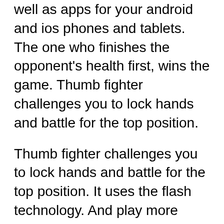well as apps for your android and ios phones and tablets. The one who finishes the opponent's health first, wins the game. Thumb fighter challenges you to lock hands and battle for the top position.
Thumb fighter challenges you to lock hands and battle for the top position. It uses the flash technology. And play more 2player games like get on top and trump on top.
Arcade, 2 player, fighting, flash, action, fun, funny, free, social | (1.46 mb) date added 12 oct 2015: Extreme thumb war game is in the category of 2 player games and you can play this free game at ob games. We are carrying thumb war game which is a very popular game in daily life, to the devices.